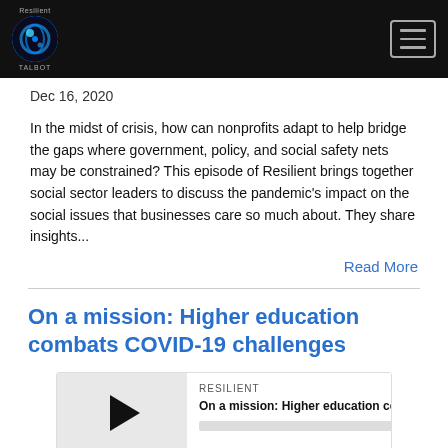Resilient — navigation bar with logo and hamburger menu
Dec 16, 2020
In the midst of crisis, how can nonprofits adapt to help bridge the gaps where government, policy, and social safety nets may be constrained? This episode of Resilient brings together social sector leaders to discuss the pandemic's impact on the social issues that businesses care so much about. They share insights...
Read More
On a mission: Higher education combats COVID-19 challenges
[Figure (screenshot): Podcast player widget showing RESILIENT branding, episode title 'On a mission: Higher education combats COV...' with progress bar, play button thumbnail, and time display 00:00:00 with media control icons]